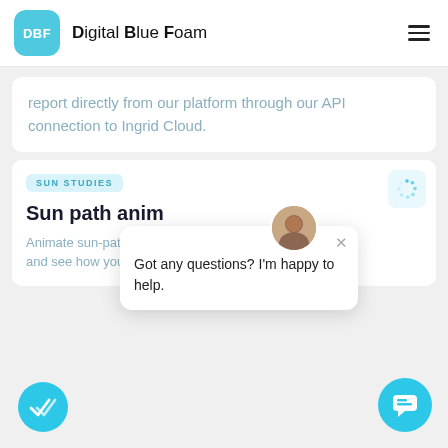DBF Digital Blue Foam
report directly from our platform through our API connection to Ingrid Cloud.
SUN STUDIES
Sun path anim...
Animate sun-paths b... and see how your pr...
Got any questions? I'm happy to help.